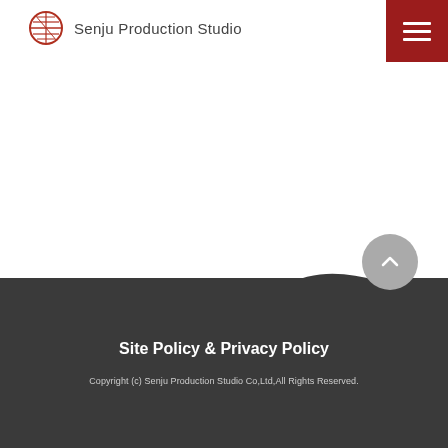Senju Production Studio
[Figure (logo): Senju Production Studio logo: circular globe-like icon with horizontal lines and the text 'Senju Production Studio' beside it]
Site Policy & Privacy Policy
Copyright (c) Senju Production Studio Co,Ltd,All Rights Reserved.